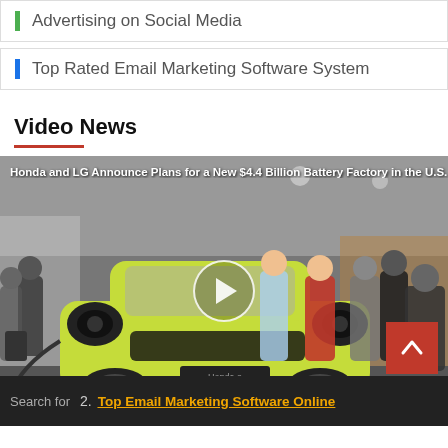Advertising on Social Media
Top Rated Email Marketing Software System
Video News
[Figure (screenshot): Video thumbnail showing a yellow Honda e electric car at an event with people in the background. Title overlay: 'Honda and LG Announce Plans for a New $4.4 Billion Battery Factory in the U.S.' with a play button in the center.]
Search for
2. Top Email Marketing Software Online